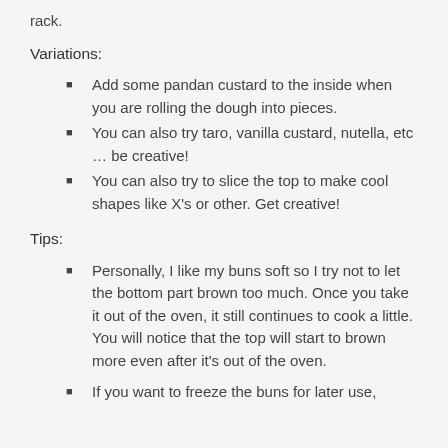rack.
Variations:
Add some pandan custard to the inside when you are rolling the dough into pieces.
You can also try taro, vanilla custard, nutella, etc … be creative!
You can also try to slice the top to make cool shapes like X's or other. Get creative!
Tips:
Personally, I like my buns soft so I try not to let the bottom part brown too much.  Once you take it out of the oven, it still continues to cook a little.  You will notice that the top will start to brown more even after it's out of the oven.
If you want to freeze the buns for later use,